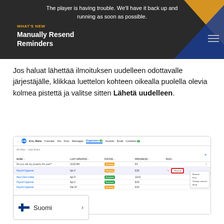[Figure (screenshot): Video player banner showing error message 'The player is having trouble. We'll have it back up and running as soon as possible.' with 'Manually Resend Reminders' title on dark background with decorative triangle shapes]
Jos haluat lähettää ilmoituksen uudelleen odottavalle järjestäjälle, klikkaa luettelon kohteen oikealla puolella olevia kolmea pistettä ja valitse sitten Lähetä uudelleen.
[Figure (screenshot): Application screenshot showing an organizers table with columns NAME, LAST UPDATED, STATUS, PROGRESS, TAGS. Rows show various organizers with Pending and Finished statuses. A context menu is visible with options including Resend (highlighted with red border), Print, Change contract, Send.]
[Figure (other): Language selection button showing Finnish flag and 'Suomi' text with a chevron arrow]